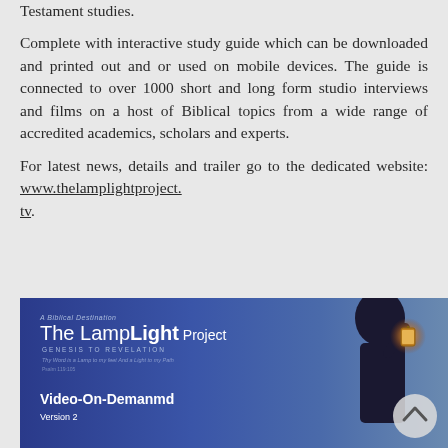Darrell Bock, Professor of New Testament studies.
Complete with interactive study guide which can be downloaded and printed out and or used on mobile devices. The guide is connected to over 1000 short and long form studio interviews and films on a host of Biblical topics from a wide range of accredited academics, scholars and experts.
For latest news, details and trailer go to the dedicated website: www.thelamplightproject.tv.
[Figure (illustration): The LampLight Project promotional image showing a person holding a lantern against a blue sky background with text: 'A Biblical Destination', 'The LampLight Project', 'GENESIS TO REVELATION', tagline text, 'Video-On-Demanmd', 'Version 2', and a back/up navigation button.]